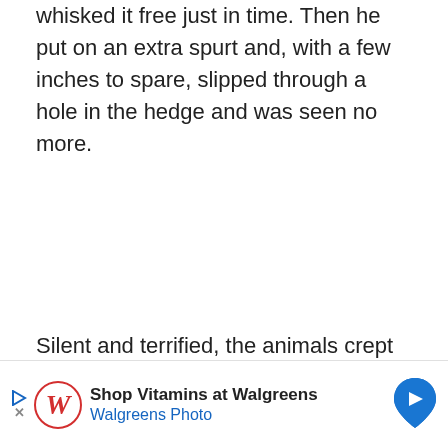whisked it free just in time. Then he put on an extra spurt and, with a few inches to spare, slipped through a hole in the hedge and was seen no more.
Silent and terrified, the animals crept back into the barn. In a moment the dogs came bounding back. At first no[body noticed] these creatu[res]...
[Figure (other): Walgreens advertisement banner: 'Shop Vitamins at Walgreens / Walgreens Photo' with Walgreens W logo and a blue map pin icon on the right.]